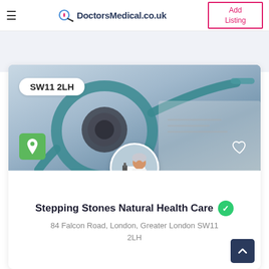DoctorsMedical.co.uk | Add Listing
[Figure (screenshot): Hero banner image showing a medical stethoscope on a light background with SW11 2LH postcode badge, green location pin icon, and heart/favourite icon]
[Figure (photo): Circular avatar photo of a person in white coat/lab coat looking through a microscope]
Stepping Stones Natural Health Care
84 Falcon Road, London, Greater London SW11 2LH